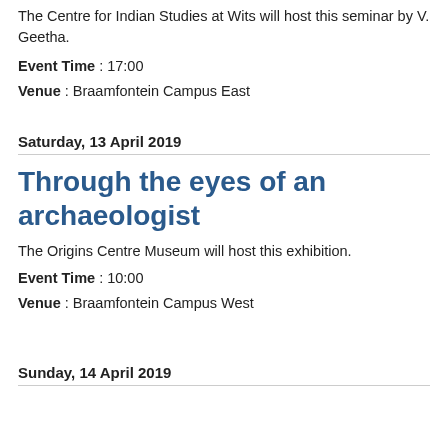The Centre for Indian Studies at Wits will host this seminar by V. Geetha.
Event Time : 17:00
Venue : Braamfontein Campus East
Saturday, 13 April 2019
Through the eyes of an archaeologist
The Origins Centre Museum will host this exhibition.
Event Time : 10:00
Venue : Braamfontein Campus West
Sunday, 14 April 2019